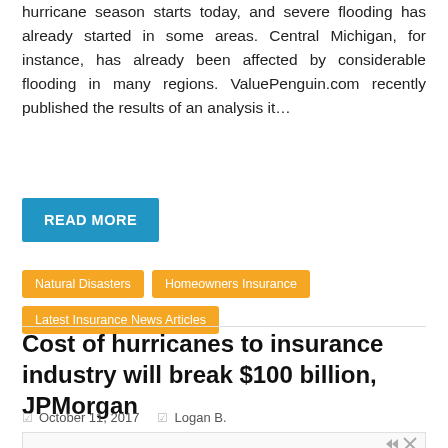hurricane season starts today, and severe flooding has already started in some areas. Central Michigan, for instance, has already been affected by considerable flooding in many regions. ValuePenguin.com recently published the results of an analysis it…
READ MORE
Natural Disasters
Homeowners Insurance
Latest Insurance News Articles
Cost of hurricanes to insurance industry will break $100 billion, JPMorgan
October 11, 2017   Logan B.
[Figure (other): Advertisement banner for Free Flooring Consultations with text 'We Make It Easy To Find The Right Flooring']